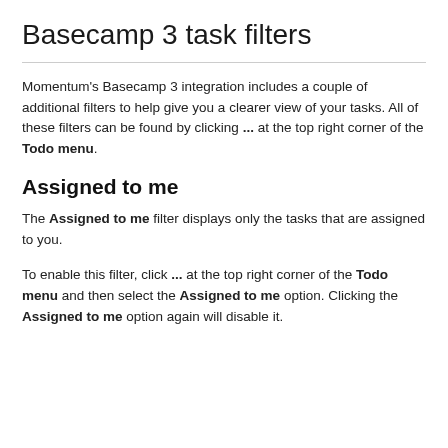Basecamp 3 task filters
Momentum's Basecamp 3 integration includes a couple of additional filters to help give you a clearer view of your tasks. All of these filters can be found by clicking ... at the top right corner of the Todo menu.
Assigned to me
The Assigned to me filter displays only the tasks that are assigned to you.
To enable this filter, click ... at the top right corner of the Todo menu and then select the Assigned to me option. Clicking the Assigned to me option again will disable it.